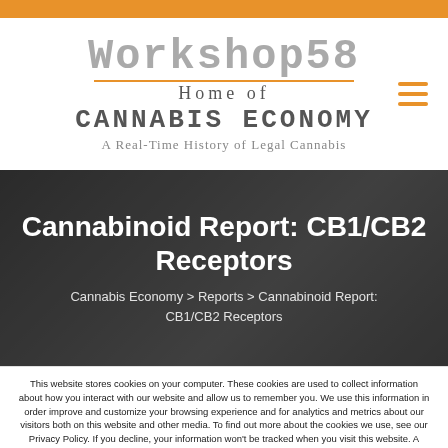[Figure (logo): Workshop 58 logo with Cannabis Economy subtitle]
Cannabinoid Report: CB1/CB2 Receptors
Cannabis Economy > Reports > Cannabinoid Report: CB1/CB2 Receptors
This website stores cookies on your computer. These cookies are used to collect information about how you interact with our website and allow us to remember you. We use this information in order improve and customize your browsing experience and for analytics and metrics about our visitors both on this website and other media. To find out more about the cookies we use, see our Privacy Policy. If you decline, your information won't be tracked when you visit this website. A single cookie will be used to remember your preference not to be tracked.